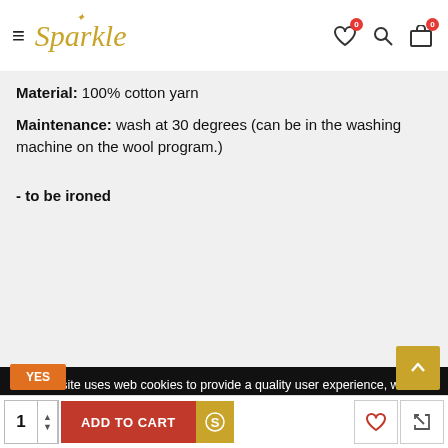[Figure (screenshot): Sparkle e-commerce website header with hamburger menu, Sparkle logo in gold italic script, heart icon with badge 0, search icon, and cart icon with badge 0]
Material: 100% cotton yarn
Maintenance: wash at 30 degrees (can be in the washing machine on the wool program.)
- to be ironed
Our website uses web cookies to provide a quality user experience, web services and functionalities that are essential for understanding consumer habits. Please confirm your consent to the use of cookies on our pages by clicking "YES".
[Figure (screenshot): Bottom bar with quantity selector showing 1, ADD TO CART button in red, gold S button, and right side heart and return icon buttons]